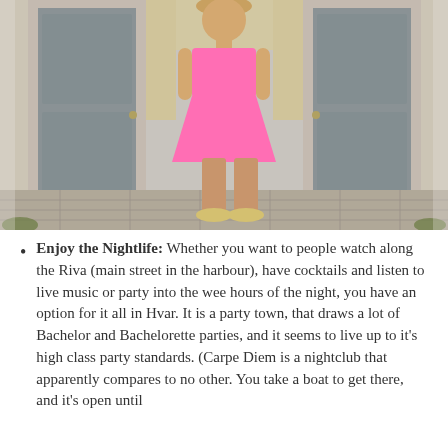[Figure (photo): A woman in a bright pink dress and gold shoes standing in front of a large gray double door set in a stone/stucco wall with yellowish decorative stone surrounds. The ground is cobblestone.]
Enjoy the Nightlife: Whether you want to people watch along the Riva (main street in the harbour), have cocktails and listen to live music or party into the wee hours of the night, you have an option for it all in Hvar. It is a party town, that draws a lot of Bachelor and Bachelorette parties, and it seems to live up to it's high class party standards. (Carpe Diem is a nightclub that apparently compares to no other. You take a boat to get there, and it's open until